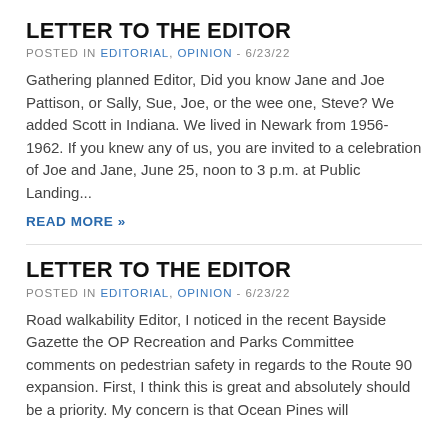LETTER TO THE EDITOR
POSTED IN EDITORIAL, OPINION - 6/23/22
Gathering planned Editor, Did you know Jane and Joe Pattison, or Sally, Sue, Joe, or the wee one, Steve? We added Scott in Indiana. We lived in Newark from 1956-1962. If you knew any of us, you are invited to a celebration of Joe and Jane, June 25, noon to 3 p.m. at Public Landing...
READ MORE »
LETTER TO THE EDITOR
POSTED IN EDITORIAL, OPINION - 6/23/22
Road walkability Editor, I noticed in the recent Bayside Gazette the OP Recreation and Parks Committee comments on pedestrian safety in regards to the Route 90 expansion. First, I think this is great and absolutely should be a priority. My concern is that Ocean Pines will